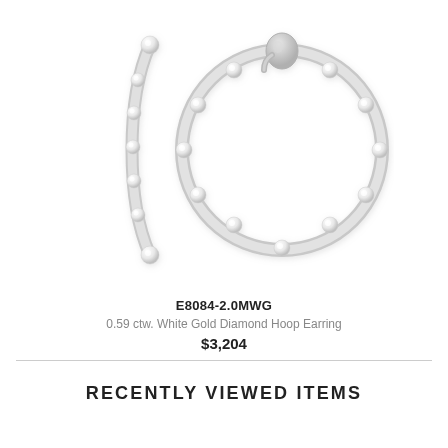[Figure (photo): Two diamond hoop earrings in white gold shown from different angles — one viewed from the side showing the clasp mechanism, and one viewed from the front showing the full hoop with pavé-set diamonds.]
E8084-2.0MWG
0.59 ctw. White Gold Diamond Hoop Earring
$3,204
RECENTLY VIEWED ITEMS